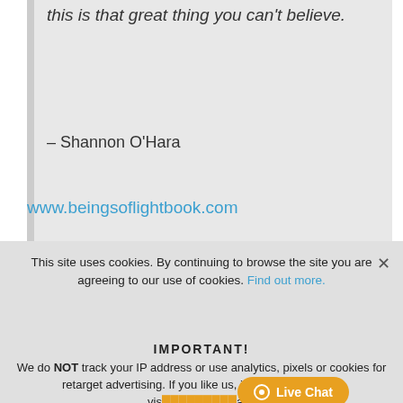this is that great thing you can't believe.
– Shannon O'Hara
www.beingsoflightbook.com
This site uses cookies. By continuing to browse the site you are agreeing to our use of cookies. Find out more.
IMPORTANT! We do NOT track your IP address or use analytics, pixels or cookies for retarget advertising. If you like us, just come back and visit again!